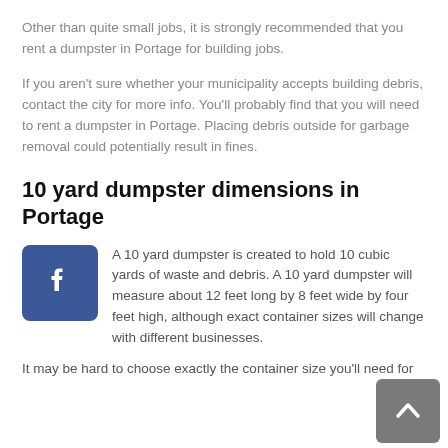Other than quite small jobs, it is strongly recommended that you rent a dumpster in Portage for building jobs.
If you aren't sure whether your municipality accepts building debris, contact the city for more info. You'll probably find that you will need to rent a dumpster in Portage. Placing debris outside for garbage removal could potentially result in fines.
10 yard dumpster dimensions in Portage
[Figure (logo): Facebook logo icon — white 'f' on blue square background]
A 10 yard dumpster is created to hold 10 cubic yards of waste and debris. A 10 yard dumpster will measure about 12 feet long by 8 feet wide by four feet high, although exact container sizes will change with different businesses.
It may be hard to choose exactly the container size you'll need for